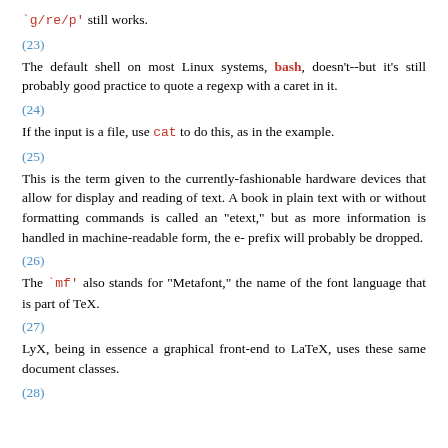`g/re/p' still works.
(23)
The default shell on most Linux systems, bash, doesn't--but it's still probably good practice to quote a regexp with a caret in it.
(24)
If the input is a file, use cat to do this, as in the example.
(25)
This is the term given to the currently-fashionable hardware devices that allow for display and reading of text. A book in plain text with or without formatting commands is called an "etext," but as more information is handled in machine-readable form, the e- prefix will probably be dropped.
(26)
The `mf' also stands for "Metafont," the name of the font language that is part of TeX.
(27)
LyX, being in essence a graphical front-end to LaTeX, uses these same document classes.
(28)